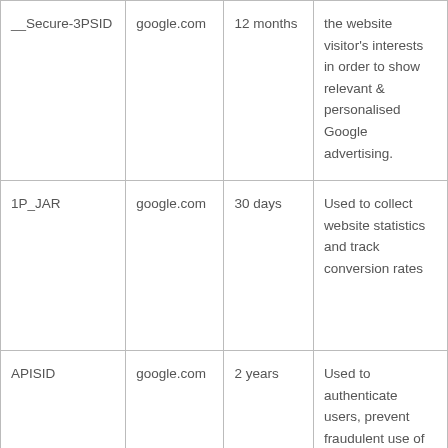| __Secure-3PSID | google.com | 12 months | the website visitor's interests in order to show relevant & personalised Google advertising. |
| 1P_JAR | google.com | 30 days | Used to collect website statistics and track conversion rates |
| APISID | google.com | 2 years | Used to authenticate users, prevent fraudulent use of login credentials |